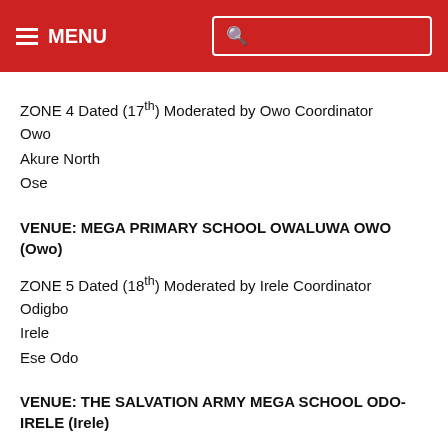≡ MENU [search]
ZONE 4 Dated (17th) Moderated by Owo Coordinator
Owo
Akure North
Ose
VENUE: MEGA PRIMARY SCHOOL OWALUWA OWO (Owo)
ZONE 5 Dated (18th) Moderated by Irele Coordinator
Odigbo
Irele
Ese Odo
VENUE: THE SALVATION ARMY MEGA SCHOOL ODO-IRELE (Irele)
ZONE 6 Dated (19th) Moderated by Akoko South West Coordinator
Akoko South West
Akoko South East